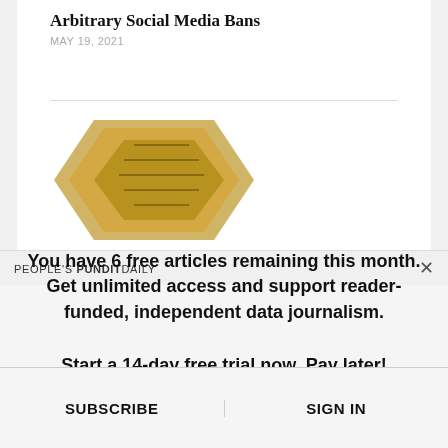Arbitrary Social Media Bans
MAY 19, 2021
[Figure (illustration): Gold angular arrow/chevron shape partially visible]
PEOPLE'S PUNDIT DAILY
You have 6 free articles remaining this month. Get unlimited access and support reader-funded, independent data journalism.
Start a 14-day free trial now. Pay later!
START TRIAL
SUBSCRIBE
SIGN IN